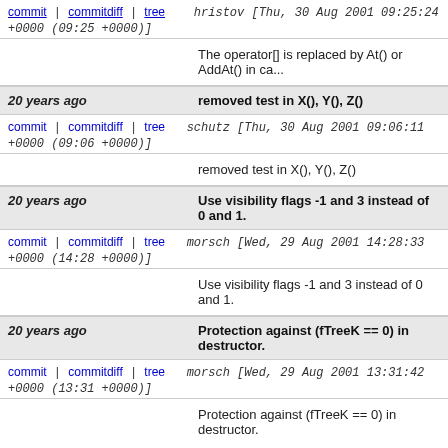commit | commitdiff | tree   hristov [Thu, 30 Aug 2001 09:25:24 +0000 (09:25 +0000)]
The operator[] is replaced by At() or AddAt() in ca...
20 years ago   removed test in X(), Y(), Z()
commit | commitdiff | tree   schutz [Thu, 30 Aug 2001 09:06:11 +0000 (09:06 +0000)]
removed test in X(), Y(), Z()
20 years ago   Use visibility flags -1 and 3 instead of 0 and 1.
commit | commitdiff | tree   morsch [Wed, 29 Aug 2001 14:28:33 +0000 (14:28 +0000)]
Use visibility flags -1 and 3 instead of 0 and 1.
20 years ago   Protection against (fTreeK == 0) in destructor.
commit | commitdiff | tree   morsch [Wed, 29 Aug 2001 13:31:42 +0000 (13:31 +0000)]
Protection against (fTreeK == 0) in destructor.